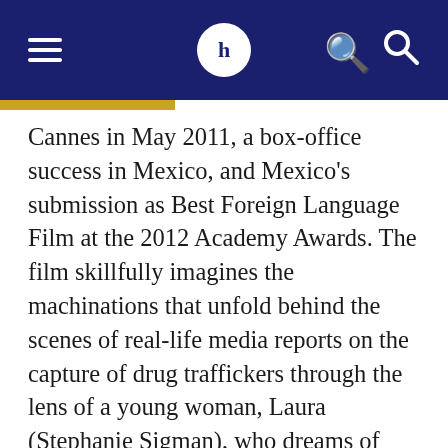H [logo]
Cannes in May 2011, a box-office success in Mexico, and Mexico's submission as Best Foreign Language Film at the 2012 Academy Awards. The film skillfully imagines the machinations that unfold behind the scenes of real-life media reports on the capture of drug traffickers through the lens of a young woman, Laura (Stephanie Sigman), who dreams of participating in the Miss Baja beauty pageant, in part to leave a life of poverty. Laura ends up being forcefully recruited to serve as a mule for a drug cartel in exchange for them helping her win the beauty contest. Naranjo here achieves a complex representation of how drug